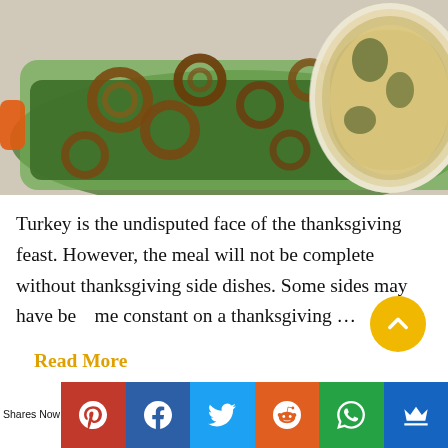[Figure (photo): Food photograph showing two casserole dishes: a green rectangular baking dish filled with green beans topped with crispy fried onion rings on the left, and a round white baking dish with a cheesy spinach casserole on the right, on a light grey surface.]
Turkey is the undisputed face of the thanksgiving feast. However, the meal will not be complete without thanksgiving side dishes. Some sides may have become constant on a thanksgiving …
Read More
Shares Now  [Pinterest] [Facebook] [Twitter] [Reddit] [WhatsApp] [Crown]